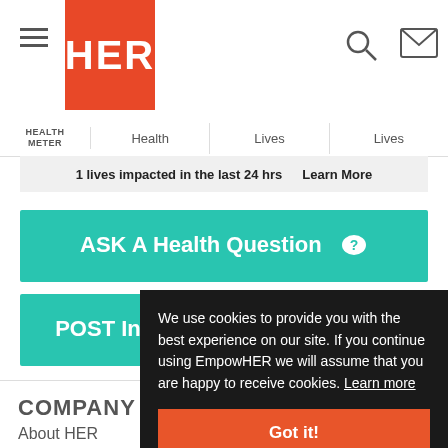HER - Health Meter | Health | Lives | Lives
1 lives impacted in the last 24 hrs   Learn More
ASK A Health Question
POST Info, Tips and Stories
COMPANY
About HER
We use cookies to provide you with the best experience on our site. If you continue using EmpowHER we will assume that you are happy to receive cookies. Learn more
Got it!